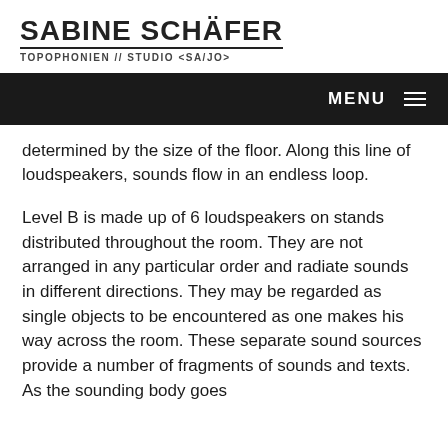SABINE SCHÄFER
TOPOPHONIEN // STUDIO <SA/JO>
MENU
determined by the size of the floor. Along this line of loudspeakers, sounds flow in an endless loop.
Level B is made up of 6 loudspeakers on stands distributed throughout the room. They are not arranged in any particular order and radiate sounds in different directions. They may be regarded as single objects to be encountered as one makes his way across the room. These separate sound sources provide a number of fragments of sounds and texts. As the sounding body goes